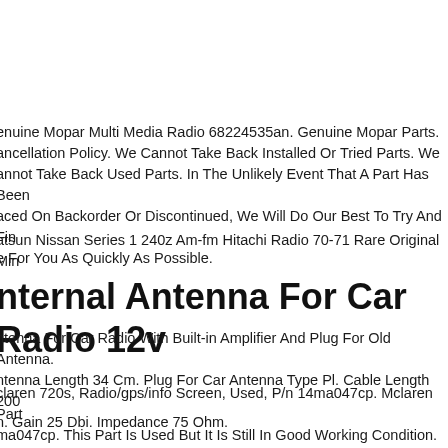enuine Mopar Multi Media Radio 68224535an. Genuine Mopar Parts. ancellation Policy. We Cannot Take Back Installed Or Tried Parts. We annot Take Back Used Parts. In The Unlikely Event That A Part Has Been aced On Backorder Or Discontinued, We Will Do Our Best To Try And Fin e For You As Quickly As Possible.
atsun Nissan Series 1 240z Am-fm Hitachi Radio 70-71 Rare Original Min
nternal Antenna For Car Radio 12v
ntenna For Car Radio With Built-in Amplifier And Plug For Old Antenna. ntenna Length 34 Cm. Plug For Car Antenna Type Pl. Cable Length 200 n. Gain 25 Dbi. Impedance 75 Ohm.
claren 720s, Radio/gps/info Screen, Used, P/n 14ma047cp. Mclaren Part ma047cp. This Part Is Used But It Is Still In Good Working Condition. otic Auto Recycling.